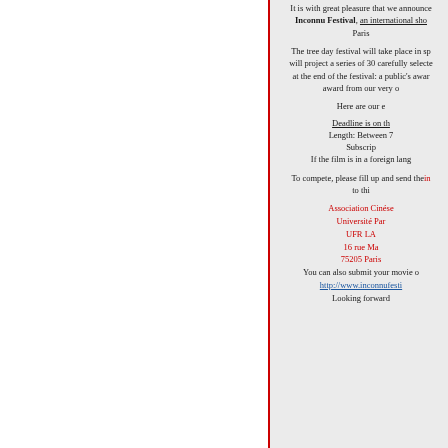It is with great pleasure that we announce the Inconnu Festival, an international short film festival based in Paris.
The tree day festival will take place in spring 2013 and will project a series of 30 carefully selected films. Two awards at the end of the festival: a public's award and a jury award from our very own experts committee.
Here are our eligibility criteria:
Deadline is on the
Length: Between 7
Subscrip
If the film is in a foreign lang
To compete, please fill up and send the inscription form to thi
Association Cinése
Université Par
UFR LA
16 rue Ma
75205 Paris
You can also submit your movie o
http://www.inconnufesti
Looking forward